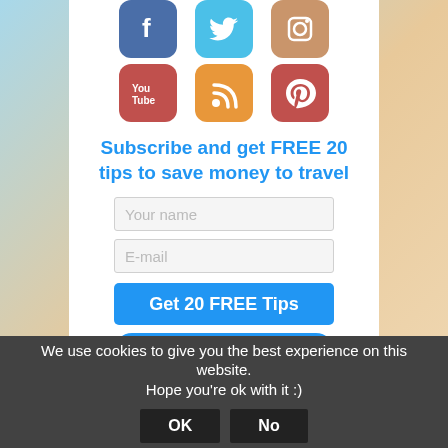[Figure (infographic): Social media icons: Facebook (blue), Twitter (light blue), Instagram (brown), YouTube (red), RSS (orange), Pinterest (red)]
Subscribe and get FREE 20 tips to save money to travel
[Figure (screenshot): Form with 'Your name' input field, 'E-mail' input field, 'Get 20 FREE Tips' blue button, and a partially visible blue 'Follow' button]
We use cookies to give you the best experience on this website. Hope you're ok with it :)